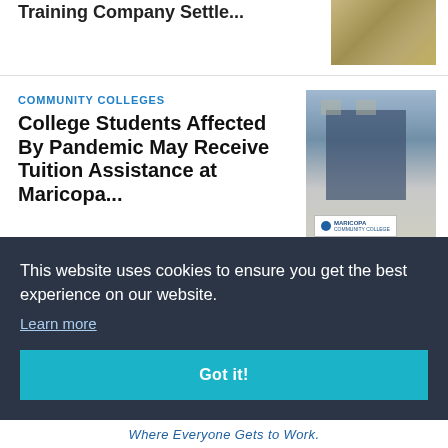Training Company Settle...
[Figure (photo): Tan/brown textured surface or ground photo]
COMMUNITY COLLEGES
College Students Affected By Pandemic May Receive Tuition Assistance at Maricopa...
[Figure (photo): Maricopa Community College building exterior with sign]
COMMUNITY COLLEGES
[Figure (logo): Red circular institutional seal/logo]
This website uses cookies to ensure you get the best experience on our website.
Learn more
Got it!
Where Everyone Gets to Work.